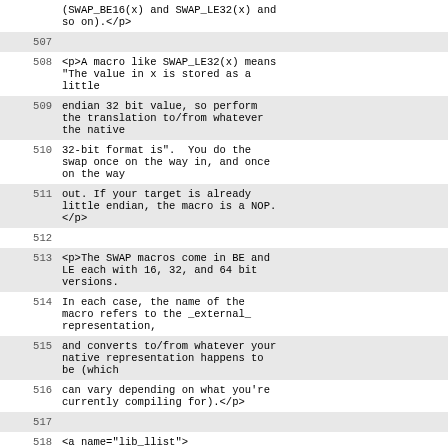(SWAP_BE16(x) and SWAP_LE32(x) and so on).</p>
507
508  <p>A macro like SWAP_LE32(x) means "The value in x is stored as a little
509  endian 32 bit value, so perform the translation to/from whatever the native
510  32-bit format is".  You do the swap once on the way in, and once on the way
511  out. If your target is already little endian, the macro is a NOP.</p>
512
513  <p>The SWAP macros come in BE and LE each with 16, 32, and 64 bit versions.
514  In each case, the name of the macro refers to the _external_ representation,
515  and converts to/from whatever your native representation happens to be (which
516  can vary depending on what you're currently compiling for).</p>
517
518  <a name="lib_llist">
<h3>lib/llist.c</h3>
519